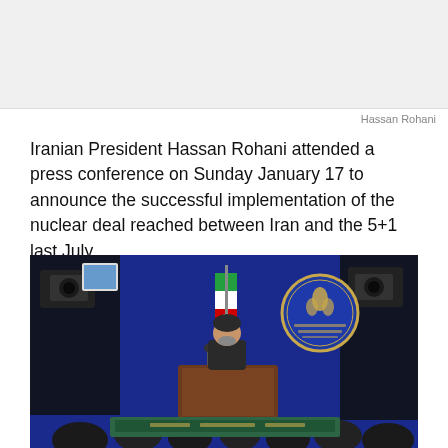[Figure (photo): Top area image placeholder, light grey background]
Hassan Rohani
Iranian President Hassan Rohani attended a press conference on Sunday January 17 to announce the successful implementation of the nuclear deal reached between Iran and the 5+1 last July.
[Figure (photo): Press conference photo showing Hassan Rohani at a podium with Iranian flag and presidential seal on a blue background, with camera equipment and audience in foreground]